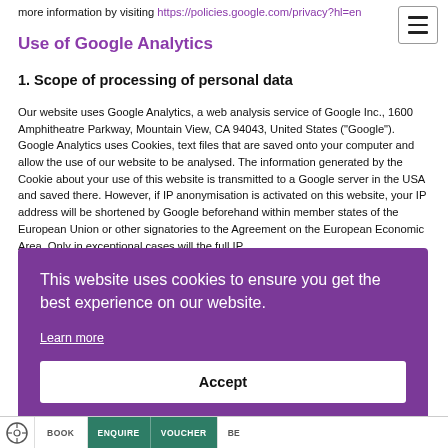more information by visiting https://policies.google.com/privacy?hl=en
Use of Google Analytics
1. Scope of processing of personal data
Our website uses Google Analytics, a web analysis service of Google Inc., 1600 Amphitheatre Parkway, Mountain View, CA 94043, United States ("Google"). Google Analytics uses Cookies, text files that are saved onto your computer and allow the use of our website to be analysed. The information generated by the Cookie about your use of this website is transmitted to a Google server in the USA and saved there. However, if IP anonymisation is activated on this website, your IP address will be shortened by Google beforehand within member states of the European Union or other signatories to the Agreement on the European Economic Area. Only in exceptional cases will the full IP
[Figure (screenshot): Cookie consent banner overlay with purple background. Text reads: 'This website uses cookies to ensure you get the best experience on our website.' with a 'Learn more' link and an 'Accept' button.]
The legal basis
BOOK   ENQUIRE   VOUCHER   BE